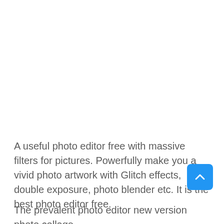A useful photo editor free with massive filters for pictures. Powerfully make you a vivid photo artwork with Glitch effects, double exposure, photo blender etc. It is the best photo editor free.
[Figure (other): Blue rounded square button with a white upward-pointing chevron/caret arrow icon (scroll-to-top button)]
The prevalent photo editor new version photo collage